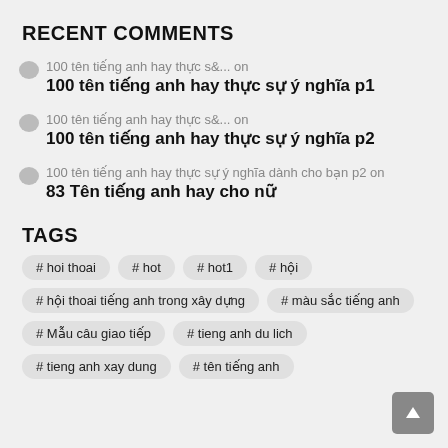RECENT COMMENTS
100 tên tiếng anh hay thực s&... on
100 tên tiếng anh hay thực sự ý nghĩa p1
100 tên tiếng anh hay thực s&... on
100 tên tiếng anh hay thực sự ý nghĩa p2
100 tên tiếng anh hay thực sự ý nghĩa dành cho bạn p2 on
83 Tên tiếng anh hay cho nữ
TAGS
# hoi thoai
# hot
# hot1
# hội
# hội thoai tiếng anh trong xây dựng
# màu sắc tiếng anh
# Mẫu câu giao tiếp
# tieng anh du lich
# tieng anh xay dung
# tên tiếng anh